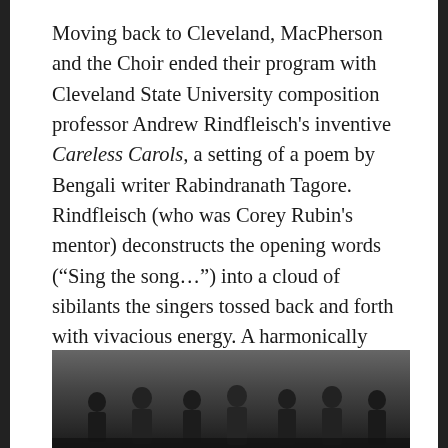Moving back to Cleveland, MacPherson and the Choir ended their program with Cleveland State University composition professor Andrew Rindfleisch's inventive Careless Carols, a setting of a poem by Bengali writer Rabindranath Tagore. Rindfleisch (who was Corey Rubin's mentor) deconstructs the opening words (“Sing the song…”) into a cloud of sibilants the singers tossed back and forth with vivacious energy. A harmonically complex middle section leads to a reprise of “sings” and “songs” and a tremendous final chord.
[Figure (photo): Black and white photograph of choir members or musicians, partially visible at the bottom of the page]